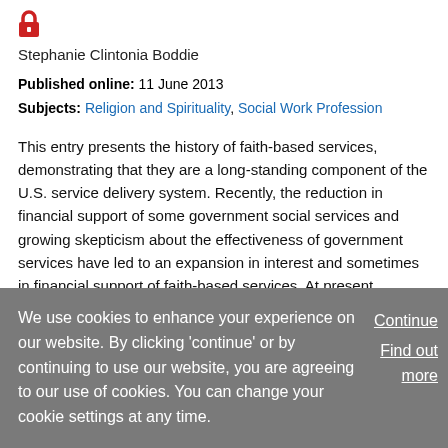[Figure (logo): Red lock icon indicating access-restricted content]
Stephanie Clintonia Boddie
Published online: 11 June 2013
Subjects: Religion and Spirituality, Social Work Profession
This entry presents the history of faith-based services, demonstrating that they are a long-standing component of the U.S. service delivery system. Recently, the reduction in financial support of some government social services and growing skepticism about the effectiveness of government services have led to an expansion in interest and sometimes in financial support of faith-based services. At present,
We use cookies to enhance your experience on our website. By clicking 'continue' or by continuing to use our website, you are agreeing to our use of cookies. You can change your cookie settings at any time.
Continue
Find out more